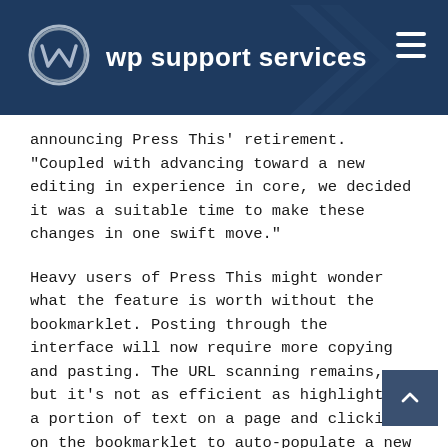wp support services
announcing Press This' retirement. "Coupled with advancing toward a new editing in experience in core, we decided it was a suitable time to make these changes in one swift move."
Heavy users of Press This might wonder what the feature is worth without the bookmarklet. Posting through the interface will now require more copying and pasting. The URL scanning remains, but it's not as efficient as highlighting a portion of text on a page and clicking on the bookmarklet to auto-populate a new post in WordPress. This change makes the plugin simpler to maintain but removes the time-saving feature that made Press This feel like magic.
"With the rise of bad actors attempting to trick folks to entering their credentials via phishing attempts, I